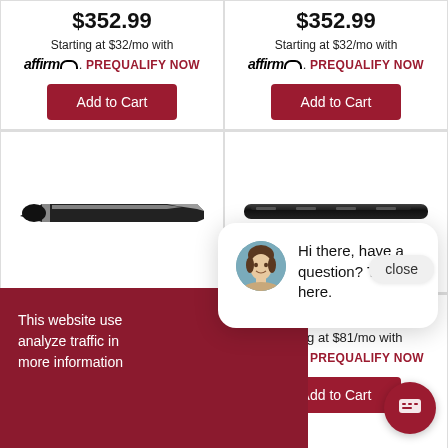$352.99
Starting at $32/mo with affirm. PREQUALIFY NOW
Add to Cart
$352.99
Starting at $32/mo with affirm. PREQUALIFY NOW
Add to Cart
[Figure (photo): Black and chrome nerf bar / side step bar, elongated oval shape, angled view]
[Figure (photo): Black nerf bar / side step bar, elongated oval shape, straight front view]
close
This website use... analyze traffic i... more informatio...
[Figure (photo): Chat popup with avatar of woman and text: Hi there, have a question? Text us here.]
Hi there, have a question? Text us here.
Starting at $32/mo with affirm. PREQUALIFY NOW
Add to Cart
Starting at $81/mo with affirm. PREQUALIFY NOW
Add to Cart